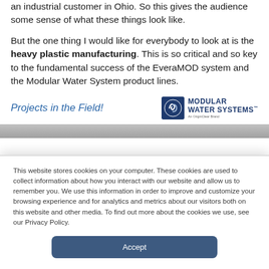an industrial customer in Ohio. So this gives the audience some sense of what these things look like.
But the one thing I would like for everybody to look at is the heavy plastic manufacturing. This is so critical and so key to the fundamental success of the EveraMOD system and the Modular Water System product lines.
Projects in the Field!
[Figure (logo): Modular Water Systems logo — circular icon on navy background with stylized G, next to stacked text 'MODULAR WATER SYSTEMS An OriginClear Brand']
[Figure (photo): Partial image strip showing field project photos, partially obscured by cookie banner]
This website stores cookies on your computer. These cookies are used to collect information about how you interact with our website and allow us to remember you. We use this information in order to improve and customize your browsing experience and for analytics and metrics about our visitors both on this website and other media. To find out more about the cookies we use, see our Privacy Policy.
Accept